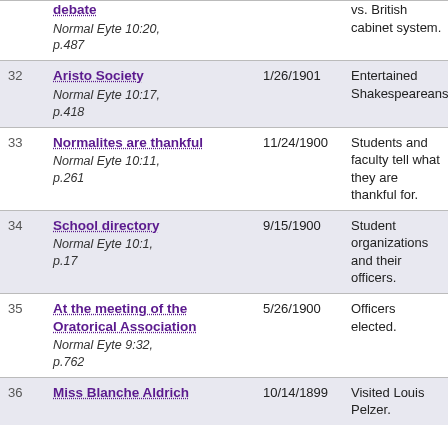| # | Title / Source | Date | Description |
| --- | --- | --- | --- |
|  | debate
Normal Eyte 10:20, p.487 |  | vs. British cabinet system. |
| 32 | Aristo Society
Normal Eyte 10:17, p.418 | 1/26/1901 | Entertained Shakespeareans. |
| 33 | Normalites are thankful
Normal Eyte 10:11, p.261 | 11/24/1900 | Students and faculty tell what they are thankful for. |
| 34 | School directory
Normal Eyte 10:1, p.17 | 9/15/1900 | Student organizations and their officers. |
| 35 | At the meeting of the Oratorical Association
Normal Eyte 9:32, p.762 | 5/26/1900 | Officers elected. |
| 36 | Miss Blanche Aldrich | 10/14/1899 | Visited Louis Pelzer. |